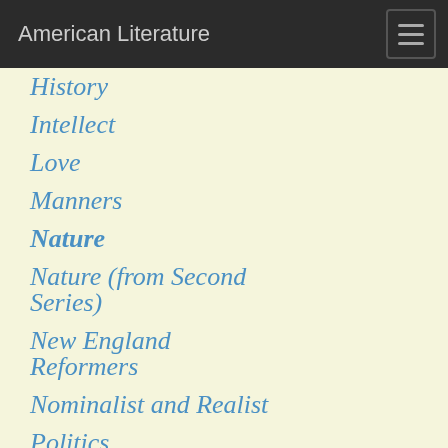American Literature
History
Intellect
Love
Manners
Nature
Nature (from Second Series)
New England Reformers
Nominalist and Realist
Politics
Prudence
Self-Reliance
Shakspeare; or The